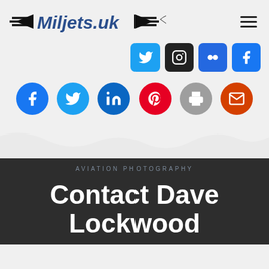Miljets.uk
[Figure (screenshot): Social media icon buttons: Twitter (blue), Instagram (black), Flickr (blue), Facebook (blue)]
[Figure (screenshot): Share buttons row: Facebook (blue circle), Twitter (light blue circle), LinkedIn (blue circle), Pinterest (red circle), Print (grey circle), Email (orange-red circle)]
AVIATION PHOTOGRAPHY
Contact Dave Lockwood